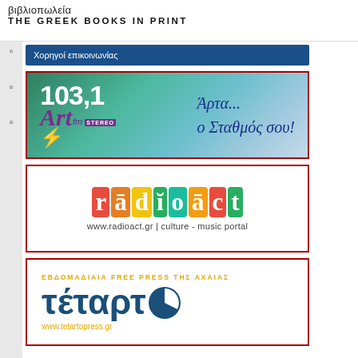THE GREEK BOOKS IN PRINT
Χορηγοί επικοινωνίας
[Figure (logo): Art FM 103.1 Stereo radio station logo with Greek text 'Άρτα... ο Σταθμός σου!']
[Figure (logo): Radioact logo with colorful letters, www.radioact.gr | culture - music portal]
[Figure (logo): Τέταρτο newspaper logo - ΕΒΔΟΜΑΔΙΑΙΑ FREE PRESS ΤΗΣ ΑΧΑΙΑΣ, www.tetartopress.gr]